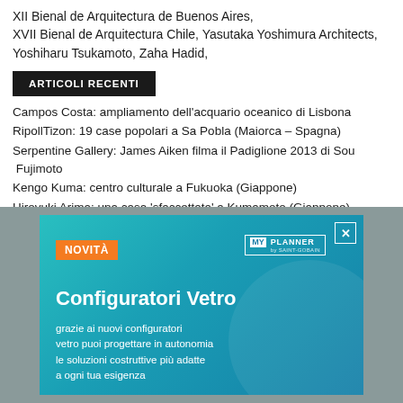XII Bienal de Arquitectura de Buenos Aires, XVII Bienal de Arquitectura Chile, Yasutaka Yoshimura Architects, Yoshiharu Tsukamoto, Zaha Hadid,
ARTICOLI RECENTI
Campos Costa: ampliamento dell'acquario oceanico di Lisbona
RipollTizon: 19 case popolari a Sa Pobla (Maiorca – Spagna)
Serpentine Gallery: James Aiken filma il Padiglione 2013 di Sou Fujimoto
Kengo Kuma: centro culturale a Fukuoka (Giappone)
Hiroyuki Arima: una casa 'sfaccettata' a Kumamoto (Giappone)
[Figure (illustration): Advertisement banner for 'Configuratori Vetro' by MY PLANNER by Saint-Gobain. Teal/blue gradient background with 'NOVITÀ' orange badge, MY PLANNER logo, title 'Configuratori Vetro' and body text in Italian about glass configurators.]